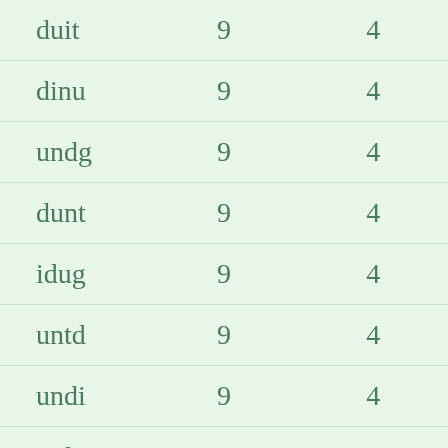| duit | 9 | 4 |
| dinu | 9 | 4 |
| undg | 9 | 4 |
| dunt | 9 | 4 |
| idug | 9 | 4 |
| untd | 9 | 4 |
| undi | 9 | 4 |
| tudi | 9 | 4 |
| idun | 9 | 4 |
| duni | 9 | 4 |